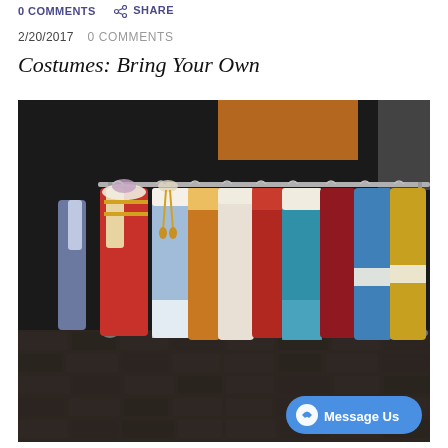0 COMMENTS   SHARE
2/20/2017   0 COMMENTS
Costumes: Bring Your Own
[Figure (photo): A clothing rack filled with colorful theatrical costumes including period dresses, cloaks, and gowns in red, blue, white, teal, and gold, photographed on what appears to be a cobblestone floor against a dark background. A Facebook 'Message Us' button is overlaid in the bottom right corner.]